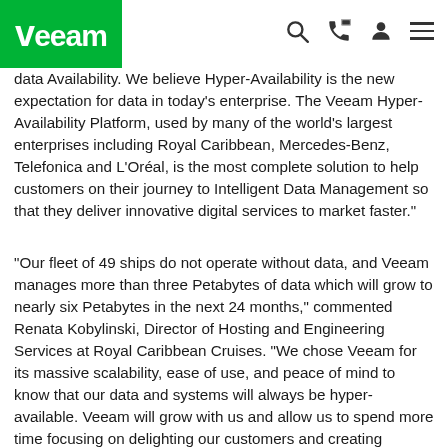Veeam [logo]
data Availability.  We believe Hyper-Availability is the new expectation for data in today's enterprise.  The Veeam Hyper-Availability Platform, used by many of the world's largest enterprises including Royal Caribbean, Mercedes-Benz, Telefonica and L'Oréal, is the most complete solution to help customers on their journey to Intelligent Data Management so that they deliver innovative digital services to market faster."
"Our fleet of 49 ships do not operate without data, and Veeam manages more than three Petabytes of data which will grow to nearly six Petabytes in the next 24 months," commented Renata Kobylinski, Director of Hosting and Engineering Services at Royal Caribbean Cruises. "We chose Veeam for its massive scalability, ease of use, and peace of mind to know that our data and systems will always be hyper-available. Veeam will grow with us and allow us to spend more time focusing on delighting our customers and creating lifetime memories of an exceptional experience for them."